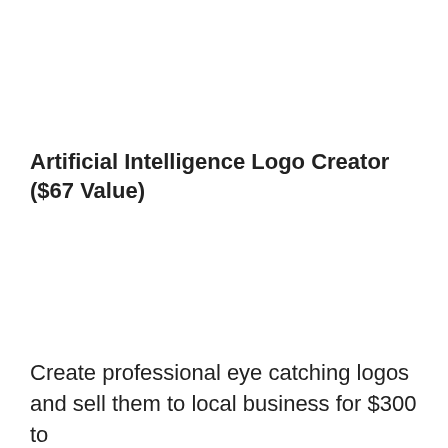Artificial Intelligence Logo Creator ($67 Value)
Create professional eye catching logos and sell them to local business for $300 to